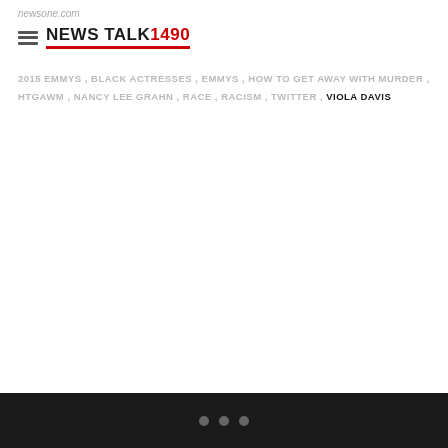newsone.com
[Figure (logo): News Talk 1490 logo with hamburger menu icon]
2015 EMMYS , BLACK ACTRESSES , EMMYS , HOW TO GET AWAY WITH MURDER , HTGAWM , NANCY LEE GRAHN , RACE , RACISM , TWITTER , VIOLA DAVIS